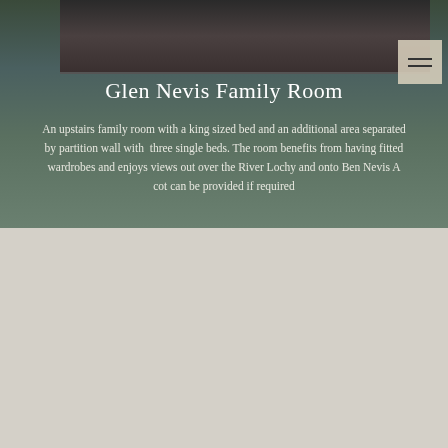[Figure (photo): Top portion of a landscape photo showing dark rocky/mountainous scenery, partially cropped at the top of the page]
Glen Nevis Family Room
An upstairs family room with a king sized bed and an additional area separated by partition wall with three single beds. The room benefits from having fitted wardrobes and enjoys views out over the River Lochy and onto Ben Nevis A cot can be provided if required
Glen Coe Two Bedroom Suite
An upstairs suite comprising of two bedrooms, a king sized room with views over the rear courtyard and a triple room with views over the enclosed side garden and the Road To The Isles with shared fitted wardrobes and ensuite bathroom between the two rooms An additional p